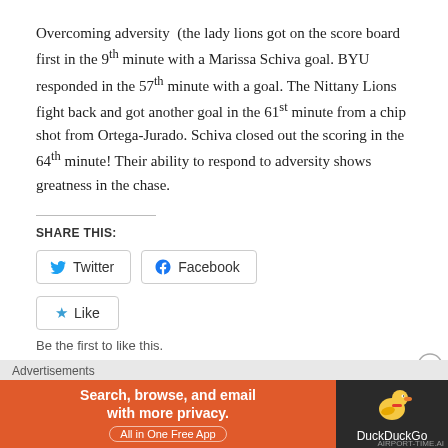Overcoming adversity  (the lady lions got on the score board first in the 9th minute with a Marissa Schiva goal. BYU responded in the 57th minute with a goal. The Nittany Lions fight back and got another goal in the 61st minute from a chip shot from Ortega-Jurado. Schiva closed out the scoring in the 64th minute! Their ability to respond to adversity shows greatness in the chase.
SHARE THIS:
Twitter  Facebook
Like
Be the first to like this.
Advertisements
[Figure (infographic): DuckDuckGo advertisement banner: orange left panel with text 'Search, browse, and email with more privacy. All in One Free App', dark right panel with DuckDuckGo duck logo and brand name.]